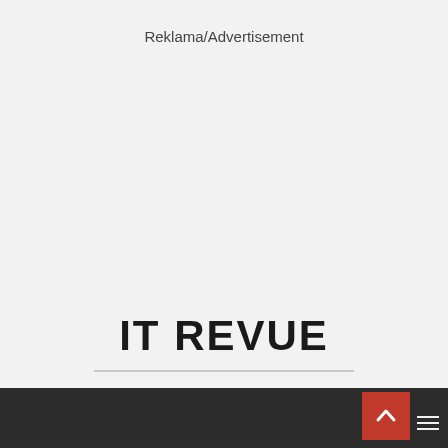Reklama/Advertisement
IT REVUE
INFORMACE O TECHNICE